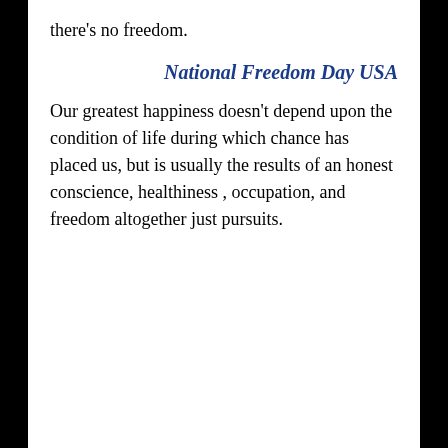there's no freedom.
National Freedom Day USA
Our greatest happiness doesn't depend upon the condition of life during which chance has placed us, but is usually the results of an honest conscience, healthiness , occupation, and freedom altogether just pursuits.